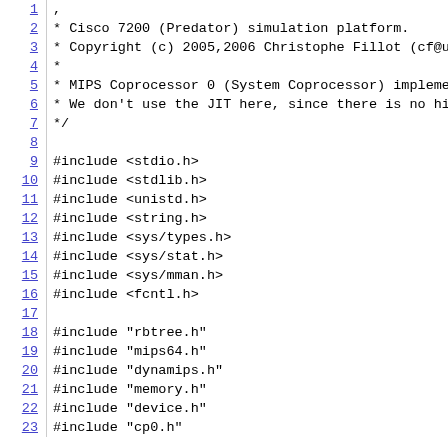1  ,
2   * Cisco 7200 (Predator) simulation platform.
3   * Copyright (c) 2005,2006 Christophe Fillot (cf@ut
4   *
5   * MIPS Coprocessor 0 (System Coprocessor) implemen
6   * We don't use the JIT here, since there is no hig
7   */
8
9  #include <stdio.h>
10 #include <stdlib.h>
11 #include <unistd.h>
12 #include <string.h>
13 #include <sys/types.h>
14 #include <sys/stat.h>
15 #include <sys/mman.h>
16 #include <fcntl.h>
17
18 #include "rbtree.h"
19 #include "mips64.h"
20 #include "dynamips.h"
21 #include "memory.h"
22 #include "device.h"
23 #include "cp0.h"